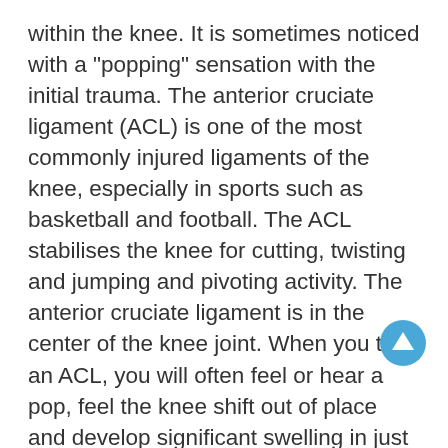within the knee. It is sometimes noticed with a "popping" sensation with the initial trauma. The anterior cruciate ligament (ACL) is one of the most commonly injured ligaments of the knee, especially in sports such as basketball and football. The ACL stabilises the knee for cutting, twisting and jumping and pivoting activity. The anterior cruciate ligament is in the center of the knee joint. When you tear an ACL, you will often feel or hear a pop, feel the knee shift out of place and develop significant swelling in just a few hours.
A ligament injury to the knee is usually painful at rest and may be swollen and